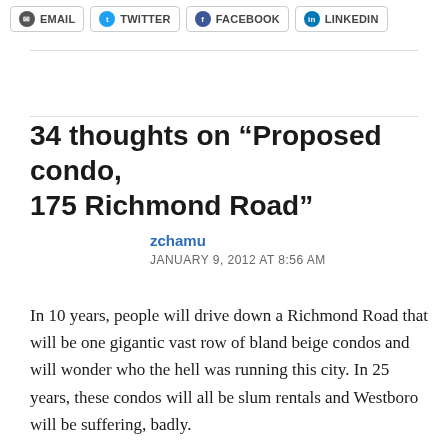EMAIL  TWITTER  FACEBOOK  LINKEDIN
34 thoughts on “Proposed condo, 175 Richmond Road”
zchamu
JANUARY 9, 2012 AT 8:56 AM
In 10 years, people will drive down a Richmond Road that will be one gigantic vast row of bland beige condos and will wonder who the hell was running this city. In 25 years, these condos will all be slum rentals and Westboro will be suffering, badly.